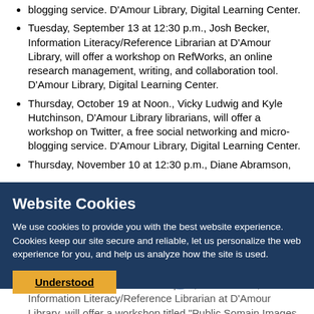blogging service. D'Amour Library, Digital Learning Center.
Tuesday, September 13 at 12:30 p.m., Josh Becker, Information Literacy/Reference Librarian at D'Amour Library, will offer a workshop on RefWorks, an online research management, writing, and collaboration tool. D'Amour Library, Digital Learning Center.
Thursday, October 19 at Noon., Vicky Ludwig and Kyle Hutchinson, D'Amour Library librarians, will offer a workshop on Twitter, a free social networking and micro-blogging service. D'Amour Library, Digital Learning Center.
Thursday, November 10 at 12:30 p.m., Diane Abramson, Community Relations Manager at Barnes & Noble Holyoke, will offer a workshop on Barnes & Noble's
Website Cookies
We use cookies to provide you with the best website experience. Cookies keep our site secure and reliable, let us personalize the web experience for you, and help us analyze how the site is used.
Privacy Policy
Tuesday, February 23 at 12:30 p.m., Josh Becker, Information Literacy/Reference Librarian at D'Amour Library, will offer a workshop titled "Public Somain Images You Can." D'Amour Library, Digital Learning Center.
Thursday, March 25 at 12:30 p.m., Lori Satter, a student at Simmons College's GSLIS West program, Mi...